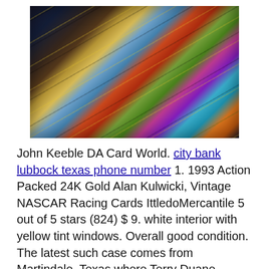[Figure (photo): Overhead view of many colorful trading cards (Pokemon cards) displayed in rows in a glass display case, overlapping diagonally.]
John Keeble DA Card World. city bank lubbock texas phone number 1. 1993 Action Packed 24K Gold Alan Kulwicki, Vintage NASCAR Racing Cards IttledoMercantile 5 out of 5 stars (824) $ 9. white interior with yellow tint windows. Overall good condition. The latest such case comes from Martindale, Texas where Terry Duane Turner, 65, is charged with the first-degree murder of Adli...